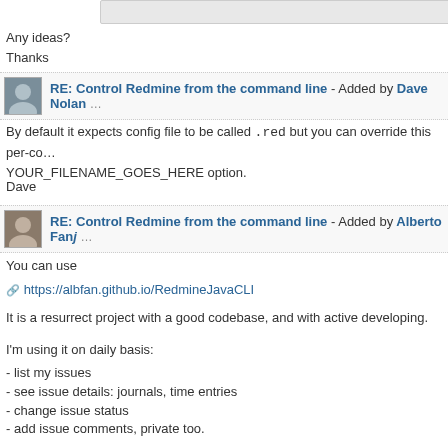Any ideas?
Thanks
RE: Control Redmine from the command line - Added by Dave Nolan
By default it expects config file to be called .red but you can override this per-command with the YOUR_FILENAME_GOES_HERE option.
Dave
RE: Control Redmine from the command line - Added by Alberto Fanj
You can use
https://albfan.github.io/RedmineJavaCLI
It is a resurrect project with a good codebase, and with active developing.
I'm using it on daily basis:
- list my issues
- see issue details: journals, time entries
- change issue status
- add issue comments, private too.
- list time-entries, with subtotal by day or week or whatever
- add time entries
- alias feature avaliable
- ~/.redmine config file
- bash autocompletion